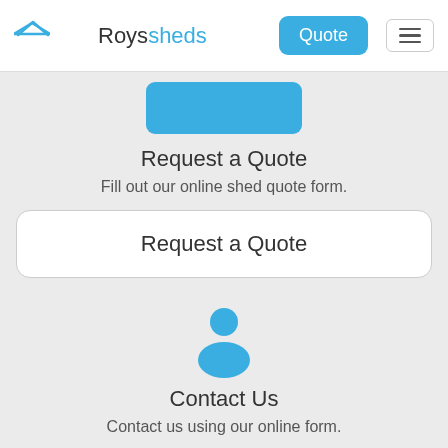Roys sheds — Quote | menu
[Figure (illustration): Roys Sheds logo with house/shed roof icon above the text]
Request a Quote
Fill out our online shed quote form.
Request a Quote
[Figure (illustration): Blue person/contact silhouette icon]
Contact Us
Contact us using our online form.
Contact Us